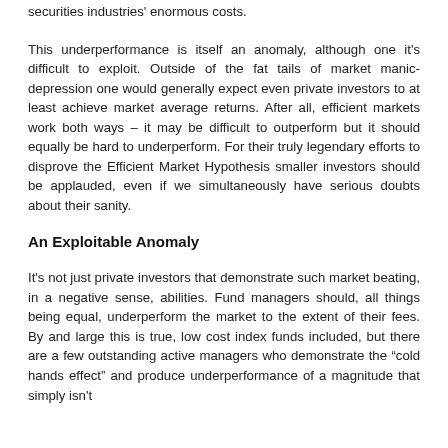securities industries' enormous costs.
This underperformance is itself an anomaly, although one it's difficult to exploit. Outside of the fat tails of market manic-depression one would generally expect even private investors to at least achieve market average returns. After all, efficient markets work both ways – it may be difficult to outperform but it should equally be hard to underperform. For their truly legendary efforts to disprove the Efficient Market Hypothesis smaller investors should be applauded, even if we simultaneously have serious doubts about their sanity.
An Exploitable Anomaly
It's not just private investors that demonstrate such market beating, in a negative sense, abilities. Fund managers should, all things being equal, underperform the market to the extent of their fees. By and large this is true, low cost index funds included, but there are a few outstanding active managers who demonstrate the "cold hands effect" and produce underperformance of a magnitude that simply isn't